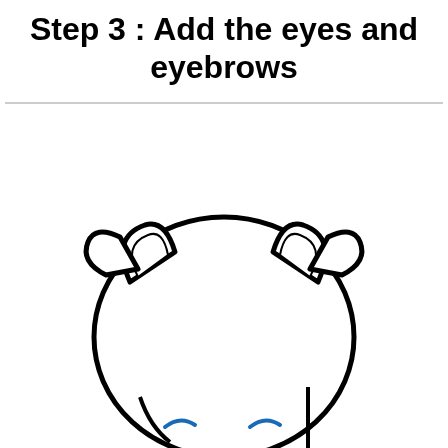Step 3 : Add the eyes and eyebrows
[Figure (illustration): A cartoon cat face drawing showing the top portion of a round cat head with two small ears on top. The head is drawn with black outlines on a white background. At the bottom of the image, two small blue curved lines are visible representing the beginnings of the cat's eyes being added.]